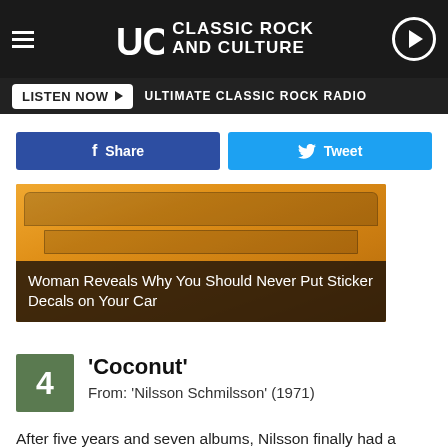UCR CLASSIC ROCK AND CULTURE
LISTEN NOW ▶  ULTIMATE CLASSIC ROCK RADIO
Share  Tweet
[Figure (photo): Photo of orange vehicle rear with sticker area, overlaid with text: Woman Reveals Why You Should Never Put Sticker Decals on Your Car]
Woman Reveals Why You Should Never Put Sticker Decals on Your Car
4  'Coconut'
From: 'Nilsson Schmilsson' (1971)
After five years and seven albums, Nilsson finally had a genuine hit. Midnight Cowboy helped make his cover of Fred Neil's "Everybody's Talkin'" a Top 10 smash more than a year